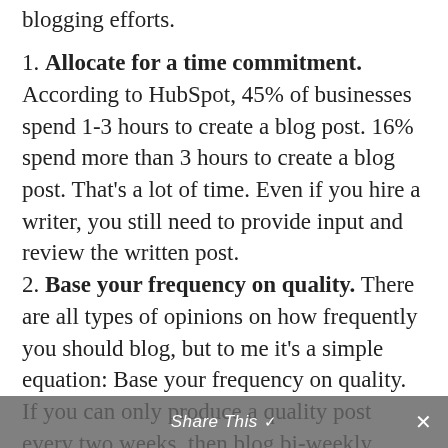blogging efforts.
1. Allocate for a time commitment. According to HubSpot, 45% of businesses spend 1-3 hours to create a blog post. 16% spend more than 3 hours to create a blog post. That’s a lot of time. Even if you hire a writer, you still need to provide input and review the written post.
2. Base your frequency on quality. There are all types of opinions on how frequently you should blog, but to me it’s a simple equation: Base your frequency on quality. If you can only produce a quality post every two weeks, then blog bi-weekly. People won’t read it unless it’s good.
3. Be consistent. If there’s anything a search engine or a reader values, it’s consistency. It’s
Share This